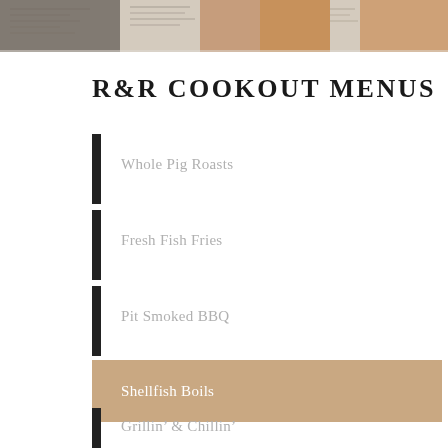[Figure (photo): Header banner showing a collage of food and newspaper imagery in muted tones]
R&R COOKOUT MENUS
Whole Pig Roasts
Fresh Fish Fries
Pit Smoked BBQ
Shellfish Boils
Grillin' & Chillin'